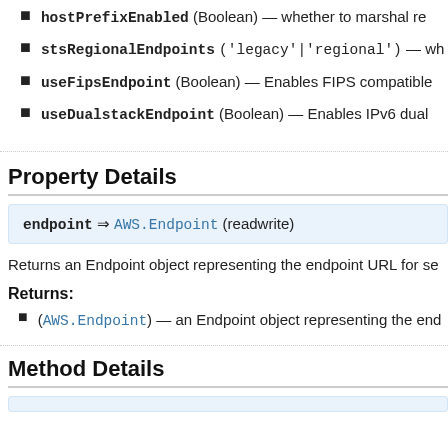hostPrefixEnabled (Boolean) — whether to marshal re...
stsRegionalEndpoints ('legacy'|'regional') — wh...
useFipsEndpoint (Boolean) — Enables FIPS compatible...
useDualstackEndpoint (Boolean) — Enables IPv6 dual...
Property Details
endpoint ⇒ AWS.Endpoint (readwrite)
Returns an Endpoint object representing the endpoint URL for se...
Returns:
(AWS.Endpoint) — an Endpoint object representing the end...
Method Details